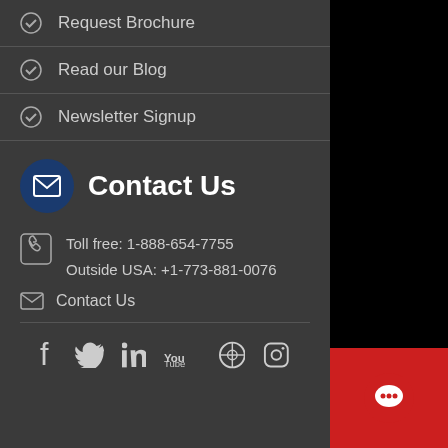Request Brochure
Read our Blog
Newsletter Signup
Contact Us
Toll free: 1-888-654-7755
Outside USA: +1-773-881-0076
Contact Us
[Figure (other): Social media icons: Facebook, Twitter, LinkedIn, YouTube, WordPress, Instagram]
[Figure (other): Red chat button with speech bubble icon in bottom right corner]